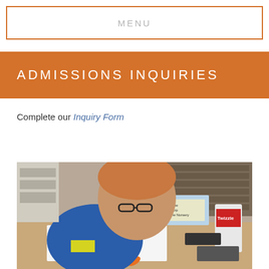MENU
ADMISSIONS INQUIRIES
Complete our Inquiry Form
[Figure (photo): Young boy wearing glasses seated at a classroom desk, looking down at papers/worksheet, with school supplies and storage bins visible in the background. The boy wears a blue and yellow jacket and is holding orange scissors.]